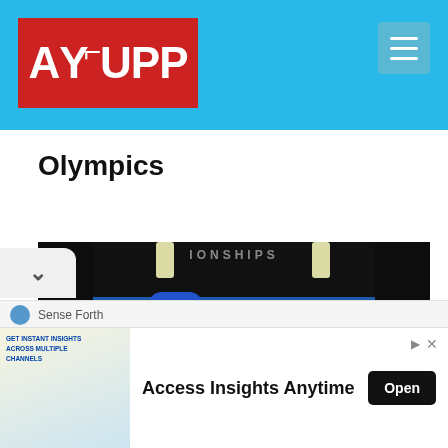AYUPP
Olympics
[Figure (photo): Wrestling match at a championships event. Two wrestlers on a blue mat, one in blue singlet, one in yellow/gold singlet. A referee in dark clothing separates them. Championship banner visible in background.]
Access Insights Anytime
Sense Forth